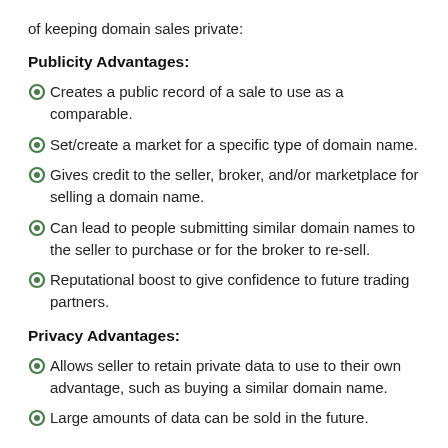of keeping domain sales private:
Publicity Advantages:
Creates a public record of a sale to use as a comparable.
Set/create a market for a specific type of domain name.
Gives credit to the seller, broker, and/or marketplace for selling a domain name.
Can lead to people submitting similar domain names to the seller to purchase or for the broker to re-sell.
Reputational boost to give confidence to future trading partners.
Privacy Advantages:
Allows seller to retain private data to use to their own advantage, such as buying a similar domain name.
Large amounts of data can be sold in the future.